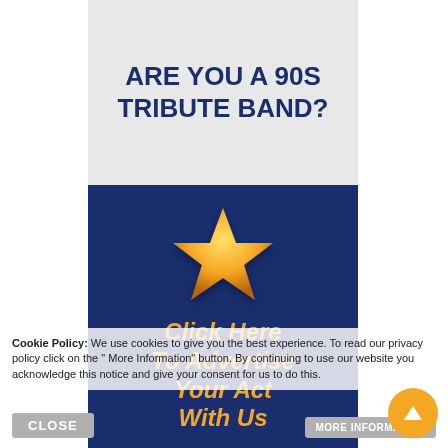ARE YOU A 90S TRIBUTE BAND?
[Figure (illustration): Gold star icon on navy blue background]
Click Here To Advertise Your Act With Us
Cookie Policy: We use cookies to give you the best experience. To read our privacy policy click on the "More Information" button. By continuing to use our website you acknowledge this notice and give your consent for us to do this.
CLOSE
MORE INFORMATION